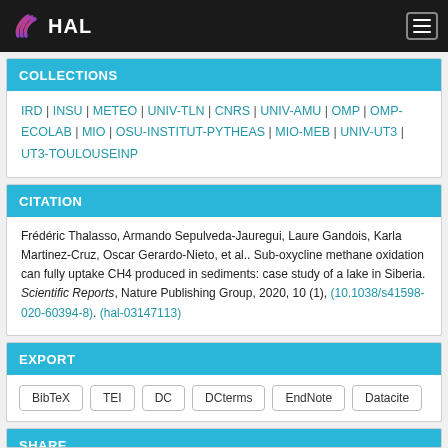HAL
COLLECTIONS
IRD | INSU | METEO | UNIV-TLN | CNRS | UNIV-AMU | OMP | OMP-ECOLAB | MIO | OSU-INSTITUT-PYTHEAS | MIO-MEB | UNIV-UT3 | UT3-TOULOUSEINP
CITATION
Frédéric Thalasso, Armando Sepulveda-Jauregui, Laure Gandois, Karla Martinez-Cruz, Oscar Gerardo-Nieto, et al.. Sub-oxycline methane oxidation can fully uptake CH4 produced in sediments: case study of a lake in Siberia. Scientific Reports, Nature Publishing Group, 2020, 10 (1), (10.1038/s41598-020-60394-8). (hal-03147113)
EXPORT
BibTeX
TEI
DC
DCterms
EndNote
Datacite
SHARE